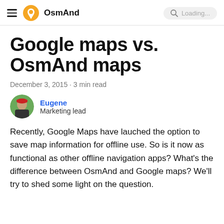OsmAnd
Google maps vs. OsmAnd maps
December 3, 2015 · 3 min read
Eugene
Marketing lead
Recently, Google Maps have lauched the option to save map information for offline use. So is it now as functional as other offline navigation apps? What's the difference between OsmAnd and Google maps? We'll try to shed some light on the question.